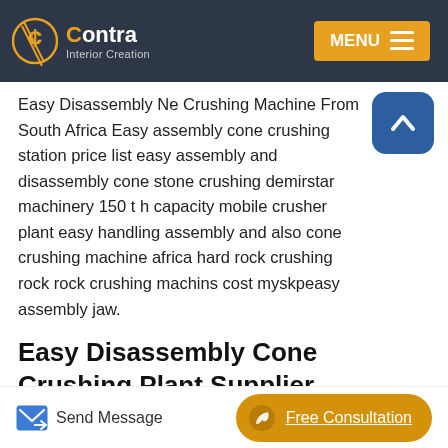Contra Interior Creation — MENU
Easy Disassembly Ne Crushing Machine From South Africa Easy assembly cone crushing station price list easy assembly and disassembly cone stone crushing demirstar machinery 150 t h capacity mobile crusher plant easy handling assembly and also cone crushing machine africa hard rock crushing rock rock crushing machins cost myskpeasy assembly jaw.
Easy Disassembly Cone Crushing Plant Supplier
Easy Disassembly Cone Crushing Plant Supplier Production capacity 12 1000 t h Max Input Size 35 300mm Discharging Range...
Send Message   Free Consultation